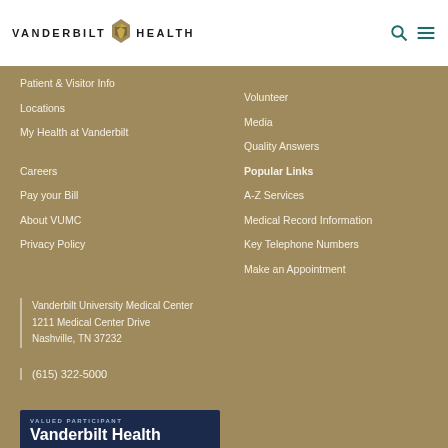[Figure (logo): Vanderbilt Health logo with emblem and text]
Patient & Visitor Info
Locations
My Health at Vanderbilt
Careers
Pay your Bill
About VUMC
Privacy Policy
Volunteer
Media
Quality Answers
Popular Links
A-Z Services
Medical Record Information
Key Telephone Numbers
Make an Appointment
Vanderbilt University Medical Center
1211 Medical Center Drive
Nashville, TN 37232
(615) 322-5000
[Figure (other): Valued Participant badge — Vanderbilt Health]